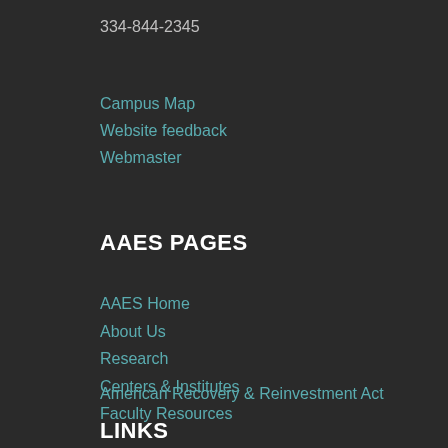334-844-2345
Campus Map
Website feedback
Webmaster
AAES PAGES
AAES Home
About Us
Research
Centers & Institutes
Faculty Resources
American Recovery & Reinvestment Act
LINKS